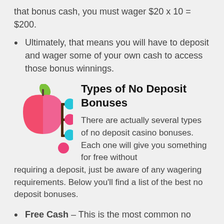that bonus cash, you must wager $20 x 10 = $200.
Ultimately, that means you will have to deposit and wager some of your own cash to access those bonus winnings.
[Figure (illustration): Colorful illustration of an apple with a branch tree diagram showing circles branching off to the right]
Types of No Deposit Bonuses
There are actually several types of no deposit casino bonuses. Each one will give you something for free without requiring a deposit, just be aware of any wagering requirements. Below you'll find a list of the best no deposit bonuses.
Free Cash – This is the most common no deposit bonus. It's very simple. You get a set amount of free